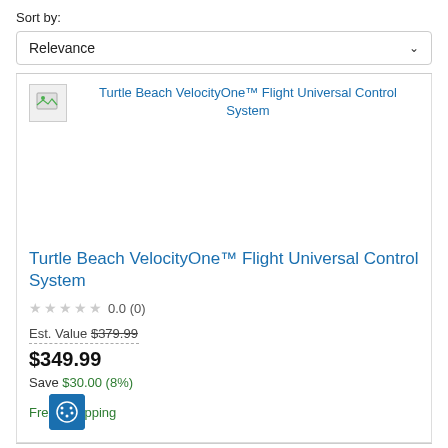Sort by:
Relevance
[Figure (screenshot): Product listing image placeholder with broken image icon and product title text]
Turtle Beach VelocityOne™ Flight Universal Control System
★★★★★ 0.0 (0)
Est. Value $379.99
$349.99
Save $30.00 (8%)
Free Shipping